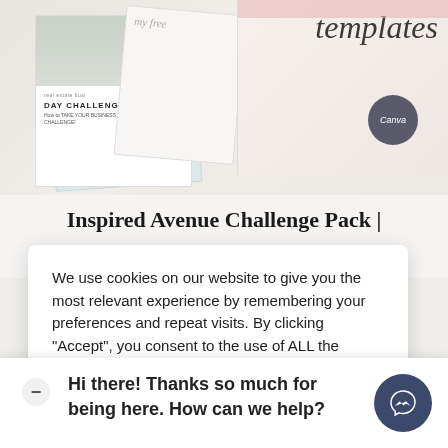[Figure (photo): Product mockup image showing document templates including a Day Challenge booklet and other papers fanned out, with script text 'templates' and a Canva badge on a light beige background]
Inspired Avenue Challenge Pack |
We use cookies on our website to give you the most relevant experience by remembering your preferences and repeat visits. By clicking "Accept", you consent to the use of ALL the cookies.
Do not sell my personal information.
Hi there! Thanks so much for being here. How can we help?